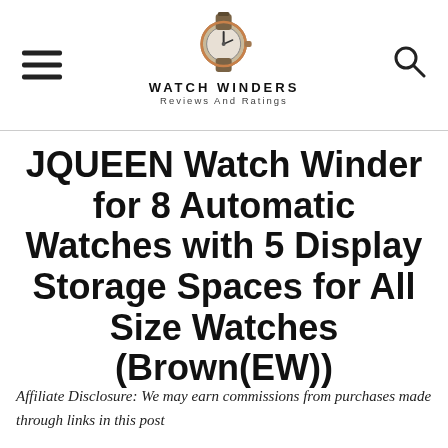WATCH WINDERS Reviews And Ratings
JQUEEN Watch Winder for 8 Automatic Watches with 5 Display Storage Spaces for All Size Watches (Brown(EW))
Affiliate Disclosure: We may earn commissions from purchases made through links in this post